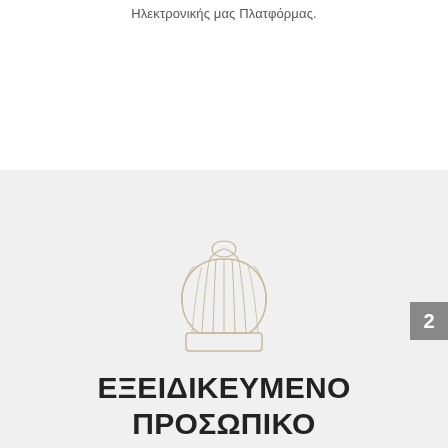Ηλεκτρονικής μας Πλατφόρμας.
[Figure (illustration): Line drawing of a chef's hat (toque) in outline style on a light gray background]
ΕΞΕΙΔΙΚΕΥΜΕΝΟ ΠΡΟΣΩΠΙΚΟ ΜΑΓΕΙΡΕΥΕΙ ΚΑΘΗΜΕΡΙΝΑ ΓΙΑ